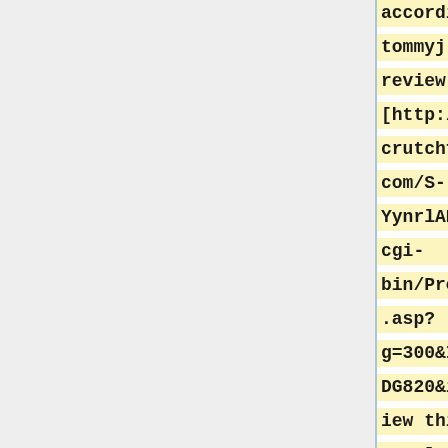according to tommyj's review on [http://www.crutchfield.com/S-YynrlAPfgcF/cgi-bin/ProdView.asp?g=300&I=257KDG820&id=review this page] Vorbis support is limited to the USB connector and is also quite flakey. Another